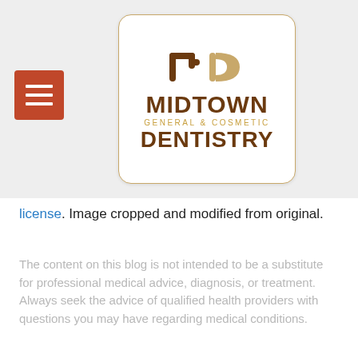[Figure (logo): Midtown General & Cosmetic Dentistry logo in a rounded white box with brown and gold text and stylized 'm' and 'D' icon. Hamburger menu icon (orange-red square with three white lines) on the left.]
license. Image cropped and modified from original.
The content on this blog is not intended to be a substitute for professional medical advice, diagnosis, or treatment. Always seek the advice of qualified health providers with questions you may have regarding medical conditions.
[Figure (screenshot): Social sharing buttons row: Facebook (dark blue), Twitter (light blue), Google+ (red), and an up-arrow button (gray). Partially visible second row of buttons at the very bottom.]